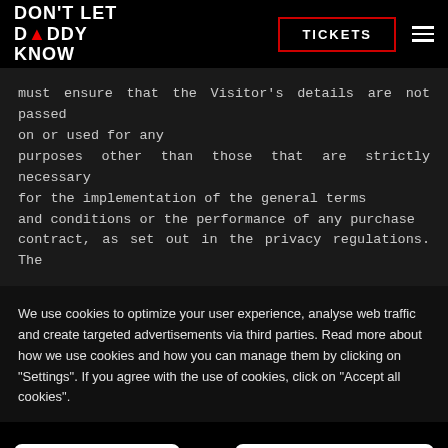DON'T LET DADDY KNOW — TICKETS navigation
must ensure that the Visitor's details are not passed on or used for any purposes other than those that are strictly necessary for the implementation of the general terms and conditions or the performance of any purchase contract, as set out in the privacy regulations. The
We use cookies to optimize your user experience, analyse web traffic and create targeted advertisements via third parties. Read more about how we use cookies and how you can manage them by clicking on "Settings". If you agree with the use of cookies, click on "Accept all cookies".
Settings
Accept all cookies